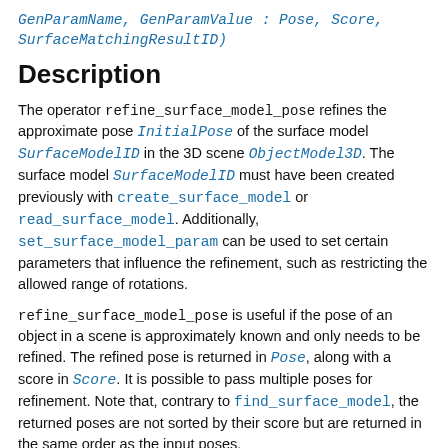GenParamName, GenParamValue : Pose, Score, SurfaceMatchingResultID)
Description
The operator refine_surface_model_pose refines the approximate pose InitialPose of the surface model SurfaceModelID in the 3D scene ObjectModel3D. The surface model SurfaceModelID must have been created previously with create_surface_model or read_surface_model. Additionally, set_surface_model_param can be used to set certain parameters that influence the refinement, such as restricting the allowed range of rotations.
refine_surface_model_pose is useful if the pose of an object in a scene is approximately known and only needs to be refined. The refined pose is returned in Pose, along with a score in Score. It is possible to pass multiple poses for refinement. Note that, contrary to find_surface_model, the returned poses are not sorted by their score but are returned in the same order as the input poses.